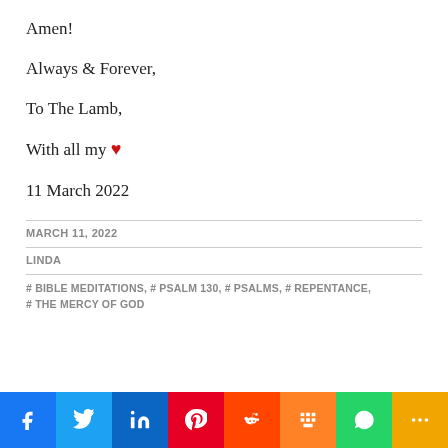Amen!
Always & Forever,
To The Lamb,
With all my ♥
11 March 2022
MARCH 11, 2022
LINDA
# BIBLE MEDITATIONS, # PSALM 130, # PSALMS, # REPENTANCE, # THE MERCY OF GOD
[Figure (infographic): Social media sharing bar with icons for Facebook, Twitter, LinkedIn, Pinterest, Reddit, Mix, WhatsApp, and More]